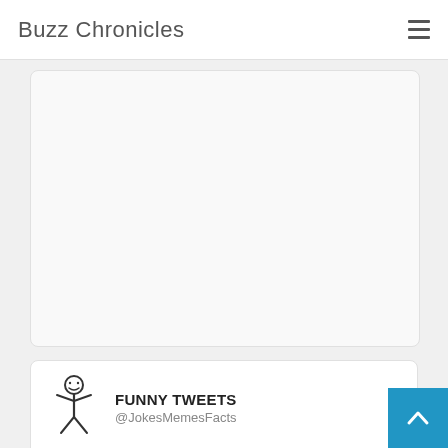Buzz Chronicles
[Figure (other): Empty advertisement or content card placeholder with light gray background]
[Figure (illustration): Stick figure avatar for FUNNY TWEETS @JokesMemesFacts Twitter account]
FUNNY TWEETS
@JokesMemesFacts
We all have a friend who thinks they're a pro gamer